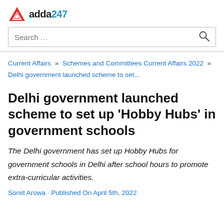[Figure (logo): Adda247 logo with red triangle icon and text 'adda247' in black and blue]
Search …
Current Affairs » Schemes and Committees Current Affairs 2022 » Delhi government launched scheme to set...
Delhi government launched scheme to set up 'Hobby Hubs' in government schools
The Delhi government has set up Hobby Hubs for government schools in Delhi after school hours to promote extra-curricular activities.
Soniit Arowa · Published On April 5th, 2022